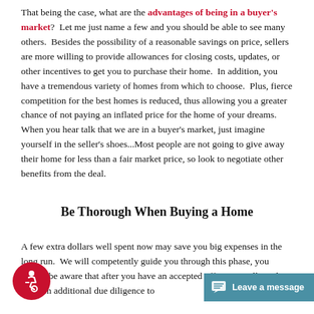That being the case, what are the advantages of being in a buyer's market?  Let me just name a few and you should be able to see many others.  Besides the possibility of a reasonable savings on price, sellers are more willing to provide allowances for closing costs, updates, or other incentives to get you to purchase their home.  In addition, you have a tremendous variety of homes from which to choose.  Plus, fierce competition for the best homes is reduced, thus allowing you a greater chance of not paying an inflated price for the home of your dreams.  When you hear talk that we are in a buyer's market, just imagine yourself in the seller's shoes...Most people are not going to give away their home for less than a fair market price, so look to negotiate other benefits from the deal.
Be Thorough When Buying a Home
A few extra dollars well spent now may save you big expenses in the long run.  We will competently guide you through this phase, you should be aware that after you have an accepted offer, you still need to perform additional due diligence to